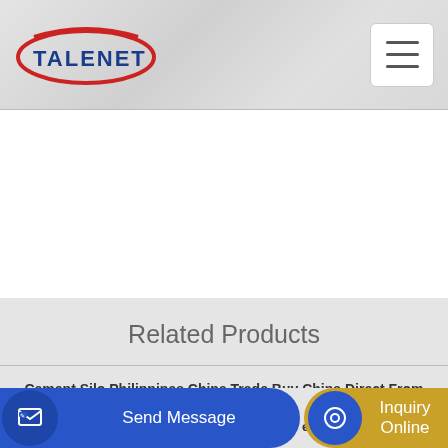TALENET
[Figure (logo): Talenet logo with red ellipse and blue text]
Related Products
Cement Silo Philippines China Trade Buy China Direct From
Concrete Batch Controller
Send Message
Inquiry Online